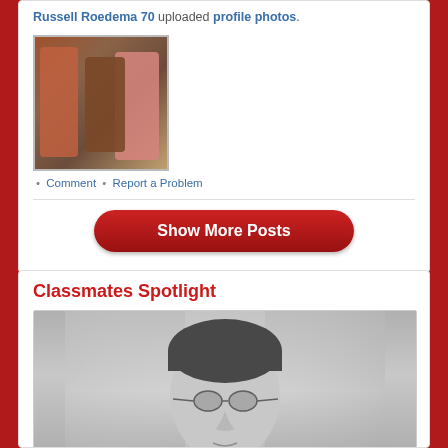Russell Roedema 70 uploaded profile photos.
[Figure (photo): Group photo of three people standing together]
• Comment • Report a Problem
Show More Posts
Classmates Spotlight
[Figure (photo): Black and white portrait photo of a man wearing glasses]